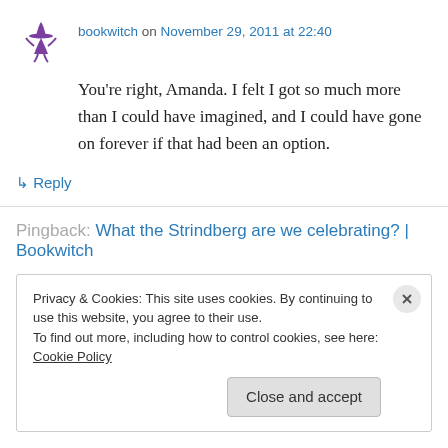bookwitch on November 29, 2011 at 22:40
You’re right, Amanda. I felt I got so much more than I could have imagined, and I could have gone on forever if that had been an option.
↳ Reply
Pingback: What the Strindberg are we celebrating? | Bookwitch
Privacy & Cookies: This site uses cookies. By continuing to use this website, you agree to their use.
To find out more, including how to control cookies, see here: Cookie Policy
Close and accept